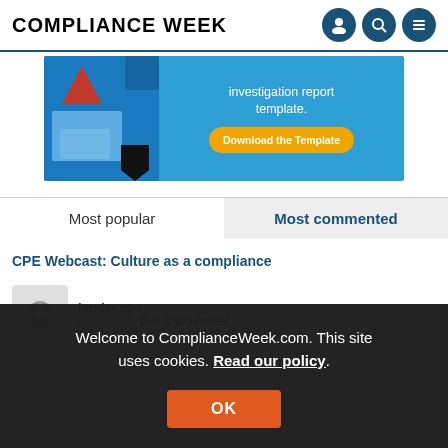COMPLIANCE WEEK
[Figure (illustration): Blue advertisement banner showing investigation report template with a Download the Template button in orange]
Most popular | Most commented
CPE Webcast: Culture as a compliance
landscape
Provided by Dun & Bradstreet
Welcome to ComplianceWeek.com. This site uses cookies. Read our policy.
OK